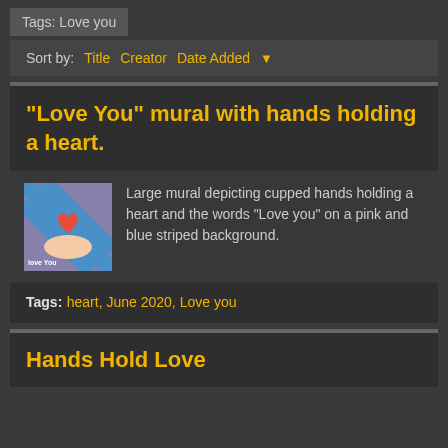Tags: Love you
Sort by:  Title  Creator  Date Added ▼
"Love You" mural with hands holding a heart.
[Figure (photo): Thumbnail photo of the Love You mural showing cupped hands holding a heart on a pink and blue striped background with the words 'Love you']
Large mural depicting cupped hands holding a heart and the words "Love you" on a pink and blue striped background.
Tags: heart, June 2020, Love you
Hands Hold Love